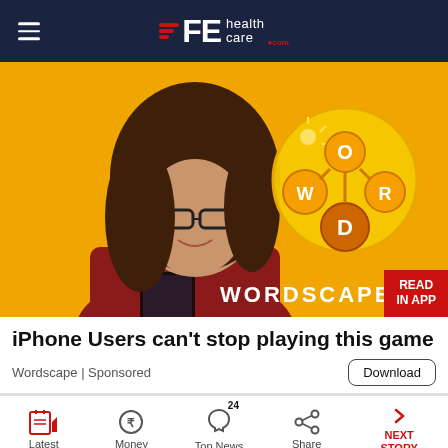FE health care .com
[Figure (photo): Advertisement image for Wordscapes game showing a young woman with curly hair and glasses smiling while looking at her phone, with a Wordscapes game logo (letters W, O, R, D in connected circles) on a yellow background. Text says WORDSCAPES at the bottom. Red button says READ IN APP.]
iPhone Users can't stop playing this game
Wordscape | Sponsored
Download
Latest   Money   Top News   Share   NEXT STORY